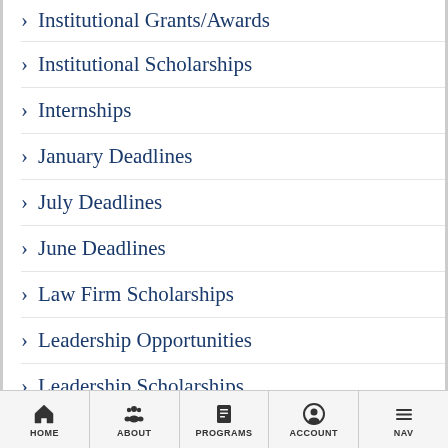> Institutional Grants/Awards
> Institutional Scholarships
> Internships
> January Deadlines
> July Deadlines
> June Deadlines
> Law Firm Scholarships
> Leadership Opportunities
> Leadership Scholarships
> Loan Forgiveness
> Low Income Students
HOME   ABOUT   PROGRAMS   ACCOUNT   NAV